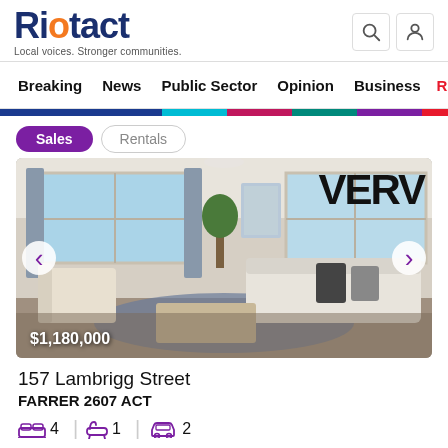Riotact — Local voices. Stronger communities.
Breaking | News | Public Sector | Opinion | Business | R
Sales   Rentals
[Figure (photo): Interior photo of a modern living room with sofas, rugs, large windows, and a VERV logo overlay. Price tag shows $1,180,000.]
157 Lambrigg Street
FARRER 2607 ACT
4 beds | 1 bath | 2 cars